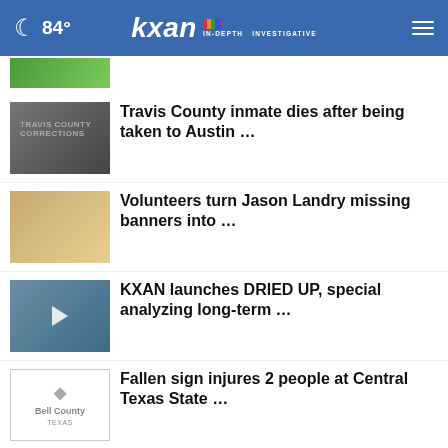84° kxan IN-DEPTH INVESTIGATIVE
[Figure (screenshot): Partially visible top news item thumbnail (green/nature image)]
Travis County inmate dies after being taken to Austin …
Volunteers turn Jason Landry missing banners into …
KXAN launches DRIED UP, special analyzing long-term …
Fallen sign injures 2 people at Central Texas State …
UT COVID-19 Modeling Consortium still seeing demand …
More Stories +